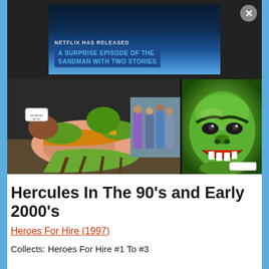[Figure (screenshot): Netflix advertisement banner showing 'NETFLIX HAS RELEASED A SURPRISE EPISODE OF THE SANDMAN WITH TWO STORIES' with an X close button, displayed against a dark background]
[Figure (illustration): Comic book panels showing Hercules tied up on the ground in green and gold costume, surrounded by green-costumed characters, with a close-up of the Hulk's green face on the right]
Hercules In The 90’s and Early 2000’s
Heroes For Hire (1997)
Collects: Heroes For Hire #1 To #3